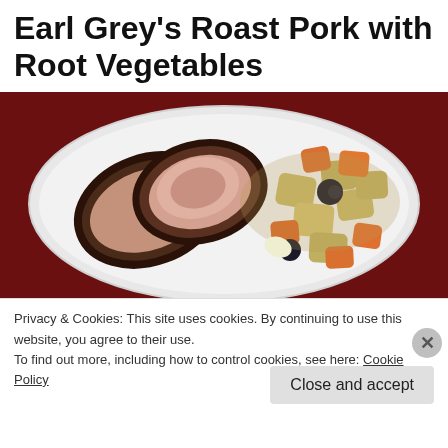Earl Grey's Roast Pork with Root Vegetables
[Figure (photo): A white plate with sliced roast pork coated in dark crust alongside roasted root vegetables (carrots, potatoes, olives) on a red table background.]
Privacy & Cookies: This site uses cookies. By continuing to use this website, you agree to their use.
To find out more, including how to control cookies, see here: Cookie Policy
Close and accept